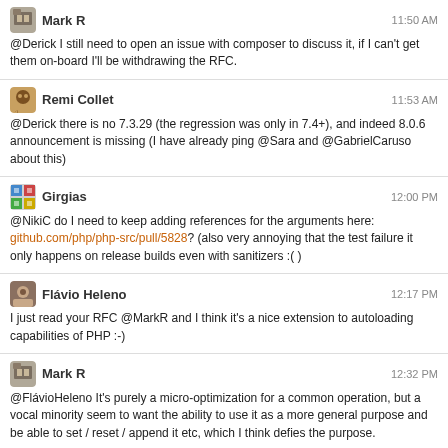Mark R 11:50 AM @Derick I still need to open an issue with composer to discuss it, if I can't get them on-board I'll be withdrawing the RFC.
Remi Collet 11:53 AM @Derick there is no 7.3.29 (the regression was only in 7.4+), and indeed 8.0.6 announcement is missing (I have already ping @Sara and @GabrielCaruso about this)
Girgias 12:00 PM @NikiC do I need to keep adding references for the arguments here: github.com/php/php-src/pull/5828? (also very annoying that the test failure it only happens on release builds even with sanitizers :( )
Flávio Heleno 12:17 PM I just read your RFC @MarkR and I think it's a nice extension to autoloading capabilities of PHP :-)
Mark R 12:32 PM @FlávioHeleno It's purely a micro-optimization for a common operation, but a vocal minority seem to want the ability to use it as a more general purpose and be able to set / reset / append it etc, which I think defies the purpose.
Flávio Heleno 12:39 PM @MarkR IMHO, the RFC as is is a good addition to the language, the more general approach does not sound super important, unless I'm missing something..
NikiC 12:41 PM @FlávioHeleno Given how nobody uses non-composer autoloaders anymore, it does not make sense to add any autoloading functionality that is not directly usable by composer.